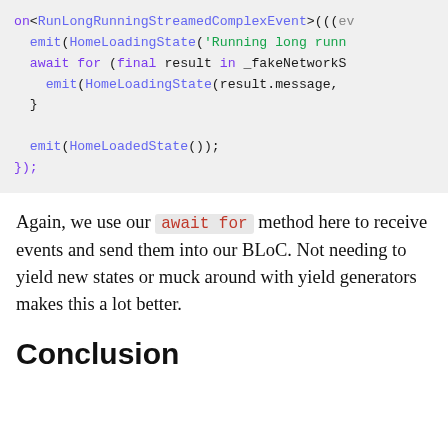[Figure (screenshot): Code block showing Dart/Flutter BLoC event handler with syntax highlighting. Purple keywords: on, await, for, final, in. Indigo function names: emit, HomeLoadingState, HomeLoadedState. Green string: 'Running long runn...'.]
Again, we use our await for method here to receive events and send them into our BLoC. Not needing to yield new states or muck around with yield generators makes this a lot better.
Conclusion